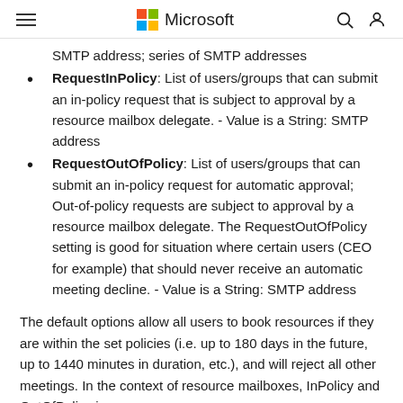Microsoft
SMTP address; series of SMTP addresses
RequestInPolicy: List of users/groups that can submit an in-policy request that is subject to approval by a resource mailbox delegate. - Value is a String: SMTP address
RequestOutOfPolicy: List of users/groups that can submit an in-policy request for automatic approval; Out-of-policy requests are subject to approval by a resource mailbox delegate. The RequestOutOfPolicy setting is good for situation where certain users (CEO for example) that should never receive an automatic meeting decline. - Value is a String: SMTP address
The default options allow all users to book resources if they are within the set policies (i.e. up to 180 days in the future, up to 1440 minutes in duration, etc.), and will reject all other meetings. In the context of resource mailboxes, InPolicy and OutOfPolicy in close reach, they meet the option...